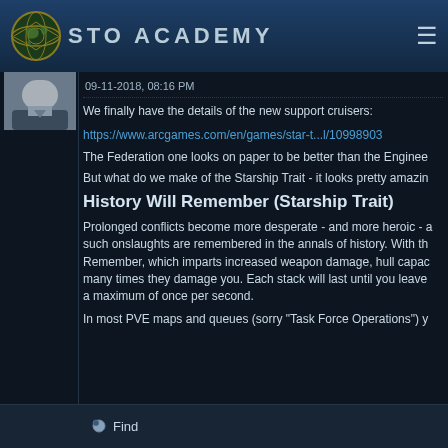STO ACADEMY
[Figure (photo): User avatar photo showing a person in a suit, partially visible]
09-11-2018, 08:16 PM
We finally have the details of the new support cruisers:
https://www.arcgames.com/en/games/star-t...l/10998903
The Federation one looks on paper to be better than the Enginee
But what do we make of the Starship Trait - it looks pretty amazin
History Will Remember (Starship Trait)
Prolonged conflicts become more desperate - and more heroic - a such onslaughts are remembered in the annals of history. With th Remember, which imparts increased weapon damage, hull capac many times they damage you. Each stack will last until you leave a maximum of once per second.
In most PVE maps and queues (sorry "Task Force Operations") y
Find